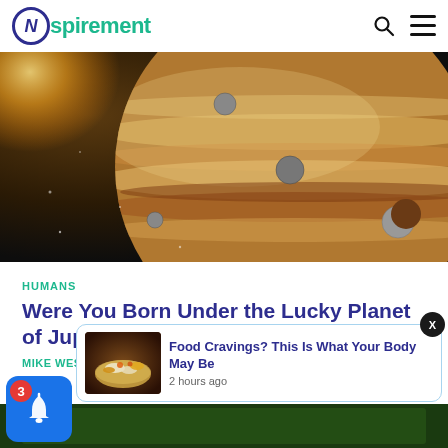Nspirement
[Figure (photo): Digital illustration of Jupiter, a large gas giant planet with swirling orange-brown clouds, surrounded by several moons, with a bright light source (sun) in the upper left corner, set against a dark space background.]
HUMANS
Were You Born Under the Lucky Planet of Jupiter?
MIKE WEST
[Figure (photo): Small thumbnail image of food items including rice and various dishes, used in the notification popup card.]
Food Cravings? This Is What Your Body May Be
2 hours ago